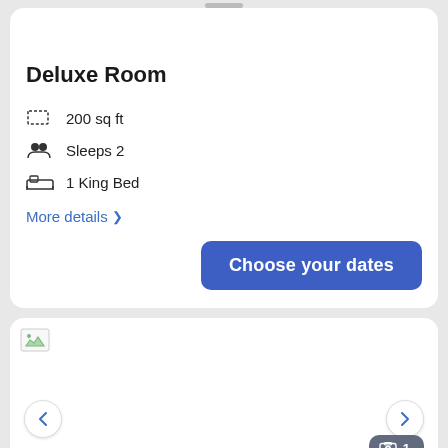1
Deluxe Room
200 sq ft
Sleeps 2
1 King Bed
More details >
Choose your dates
[Figure (screenshot): Second hotel room card with image area, left and right navigation arrows, and a partially visible image counter badge at bottom right]